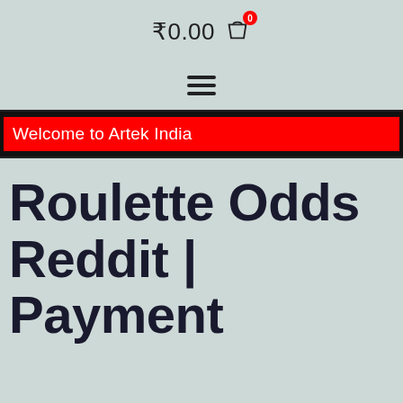₹0.00  🛒 0
[Figure (other): Hamburger menu icon (three horizontal lines)]
Welcome to Artek India
Roulette Odds Reddit | Payment